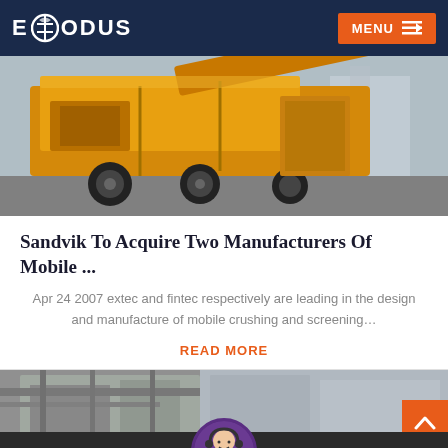EXODUS  MENU
[Figure (photo): Yellow mobile crushing/screening machinery on a trailer, industrial facility in background]
Sandvik To Acquire Two Manufacturers Of Mobile ...
Apr 24 2007 extec and fintec respectively are leading in the design and manufacture of mobile crushing and screening…
READ MORE
[Figure (photo): Partial view of industrial facility or equipment, grey tones]
Leave Message  Chat Online